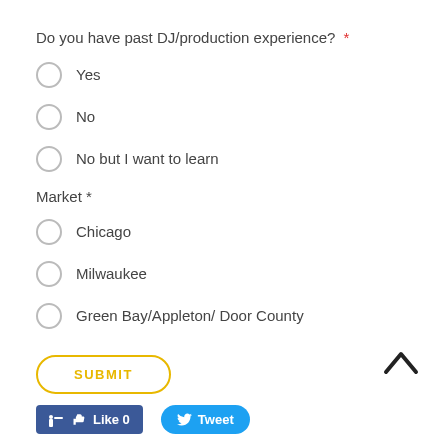Do you have past DJ/production experience? *
Yes
No
No but I want to learn
Market *
Chicago
Milwaukee
Green Bay/Appleton/ Door County
SUBMIT
Like 0   Tweet